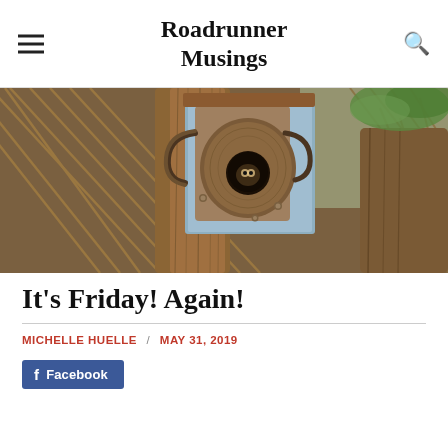Roadrunner Musings
[Figure (photo): A birdhouse mounted on wooden logs or branches, with dried palm fronds and rustic wood surroundings. The birdhouse has a round circular entry hole and appears weathered. A small bird may be inside the hole.]
It's Friday! Again!
MICHELLE HUELLE / MAY 31, 2019
Facebook